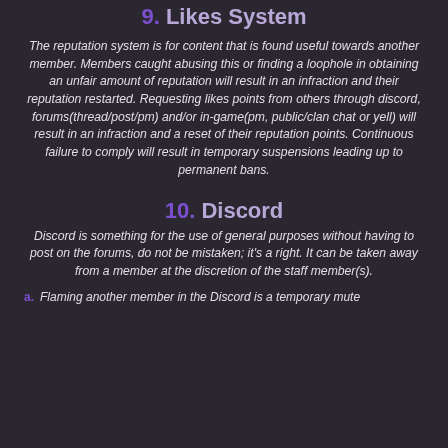9. Likes System
The reputation system is for content that is found useful towards another member. Members caught abusing this or finding a loophole in obtaining an unfair amount of reputation will result in an infraction and their reputation restarted. Requesting likes points from others through discord, forums(thread/post/pm) and/or in-game(pm, public/clan chat or yell) will result in an infraction and a reset of their reputation points. Continuous failure to comply will result in temporary suspensions leading up to permanent bans.
10. Discord
Discord is something for the use of general purposes without having to post on the forums, do not be mistaken; it's a right. It can be taken away from a member at the discretion of the staff member(s).
a. Flaming another member in the Discord is a temporary mute